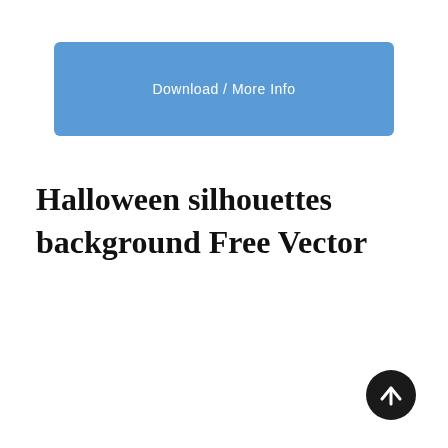Download / More Info
Halloween silhouettes background Free Vector
[Figure (other): Circular dark button with upward arrow icon (scroll-to-top button)]